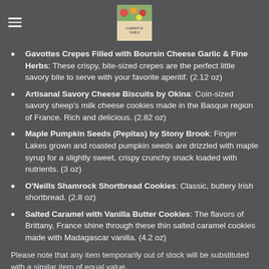Garden & Table logo header
Gavottes Crepes Filled with Boursin Cheese Garlic & Fine Herbs: These crispy, bite-sized crepes are the perfect little savory bite to serve with your favorite aperitif. (2.12 oz)
Artisanal Savory Cheese Biscuits by Okina: Coin-sized savory sheep's milk cheese cookies made in the Basque region of France. Rich and delicious. (2.82 oz)
Maple Pumpkin Seeds (Pepitas) by Stony Brook: Finger Lakes grown and roasted pumpkin seeds are drizzled with maple syrup for a slightly sweet, crispy crunchy snack loaded with nutrients. (3 oz)
O'Neills Shamrock Shortbread Cookies: Classic, buttery Irish shortbread. (2.8 oz)
Salted Caramel with Vanilla Butter Cookies: The flavors of Brittany, France shine through these thin salted caramel cookies made with Madagascar vanilla. (4.2 oz)
Please note that any item temporarily out of stock will be substituted with a similar item of equal value.